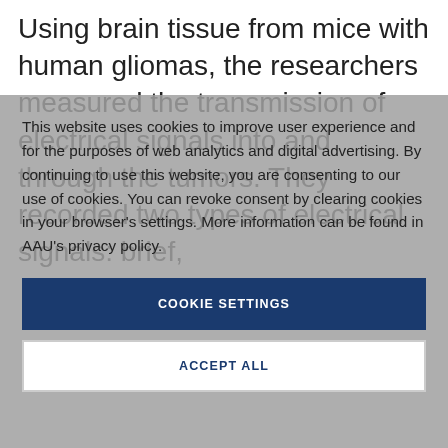Using brain tissue from mice with human gliomas, the researchers measured the transmission of electrical signals into and through the tumors. They recorded two types of electrical signals: brief,
This website uses cookies to improve user experience and for the purposes of web analytics and digital advertising. By continuing to use this website, you are consenting to our use of cookies. You can revoke consent by clearing cookies in your browser's settings. More information can be found in AAU's privacy policy.
COOKIE SETTINGS
ACCEPT ALL